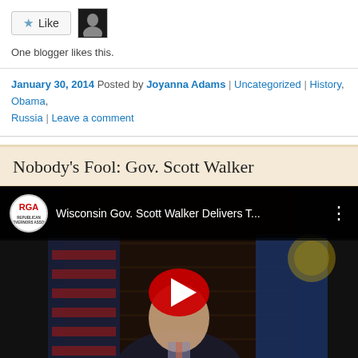[Figure (other): Like button with star icon and a user avatar thumbnail]
One blogger likes this.
January 30, 2014 Posted by Joyanna Adams | Uncategorized | History, Obama, Russia | Leave a comment
Nobody's Fool: Gov. Scott Walker
[Figure (screenshot): Embedded YouTube video thumbnail showing Wisconsin Gov. Scott Walker delivering a speech, with RGA logo, title 'Wisconsin Gov. Scott Walker Delivers T...', and a red play button overlay. Man in suit in front of US flags.]